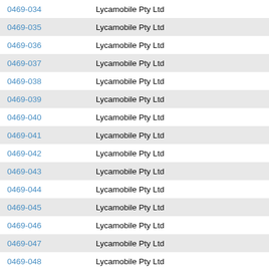| Code | Licensee |
| --- | --- |
| 0469-034 | Lycamobile Pty Ltd |
| 0469-035 | Lycamobile Pty Ltd |
| 0469-036 | Lycamobile Pty Ltd |
| 0469-037 | Lycamobile Pty Ltd |
| 0469-038 | Lycamobile Pty Ltd |
| 0469-039 | Lycamobile Pty Ltd |
| 0469-040 | Lycamobile Pty Ltd |
| 0469-041 | Lycamobile Pty Ltd |
| 0469-042 | Lycamobile Pty Ltd |
| 0469-043 | Lycamobile Pty Ltd |
| 0469-044 | Lycamobile Pty Ltd |
| 0469-045 | Lycamobile Pty Ltd |
| 0469-046 | Lycamobile Pty Ltd |
| 0469-047 | Lycamobile Pty Ltd |
| 0469-048 | Lycamobile Pty Ltd |
| 0469-049 | Lycamobile Pty Ltd |
| 0469-050 | Lycamobile Pty Ltd |